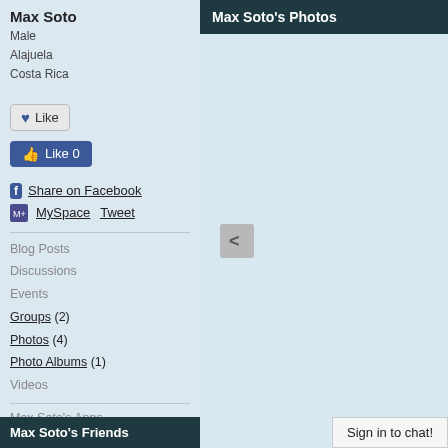Max Soto
Male
Alajuela
Costa Rica
[Figure (illustration): Like button with heart icon]
[Figure (illustration): Facebook Like 0 button]
Share on Facebook
MySpace  Tweet
Blog Posts
Discussions
Events
Groups (2)
Photos (4)
Photo Albums (1)
Videos
Max Soto's Apps
Max Soto's Likes
Max Soto's Friends
Max Soto's Photos
[Figure (illustration): Left arrow navigation button on light blue background]
Sign in to chat!